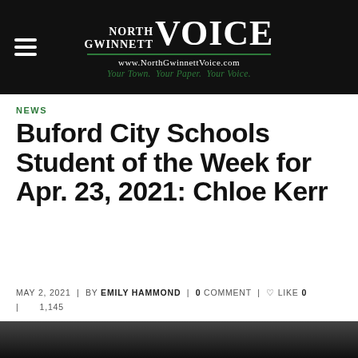North Gwinnett VOICE — www.NorthGwinnettVoice.com — Your Town. Your Paper. Your Voice.
NEWS
Buford City Schools Student of the Week for Apr. 23, 2021: Chloe Kerr
MAY 2, 2021 | BY EMILY HAMMOND | 0 COMMENT | LIKE 0 | 1,145
[Figure (photo): Partial photo visible at bottom of page, dark tones, appears to be outdoors]